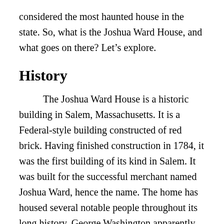considered the most haunted house in the state. So, what is the Joshua Ward House, and what goes on there? Let's explore.
History
The Joshua Ward House is a historic building in Salem, Massachusetts. It is a Federal-style building constructed of red brick. Having finished construction in 1784, it was the first building of its kind in Salem. It was built for the successful merchant named Joshua Ward, hence the name. The home has housed several notable people throughout its long history. George Washington apparently specifically requested to stay there while visiting Salem in 1789. In the 1800s, the